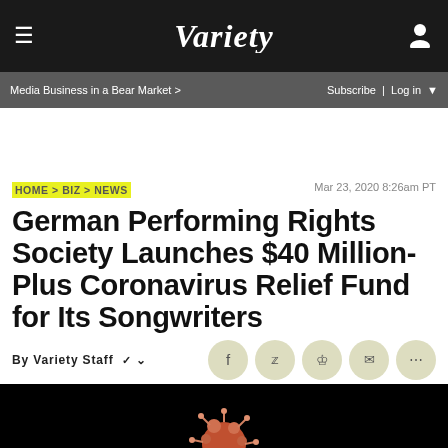VARIETY
Media Business in a Bear Market > | Subscribe | Log in
HOME > BIZ > NEWS
Mar 23, 2020 8:26am PT
German Performing Rights Society Launches $40 Million-Plus Coronavirus Relief Fund for Its Songwriters
By Variety Staff
[Figure (photo): Coronavirus particle image on dark background]